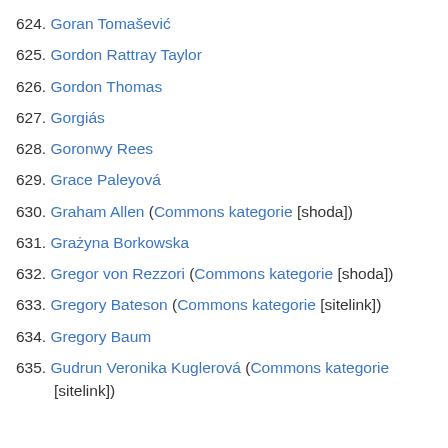624. Goran Tomašević
625. Gordon Rattray Taylor
626. Gordon Thomas
627. Gorgiás
628. Goronwy Rees
629. Grace Paleyová
630. Graham Allen (Commons kategorie [shoda])
631. Grażyna Borkowska
632. Gregor von Rezzori (Commons kategorie [shoda])
633. Gregory Bateson (Commons kategorie [sitelink])
634. Gregory Baum
635. Gudrun Veronika Kuglerová (Commons kategorie [sitelink])